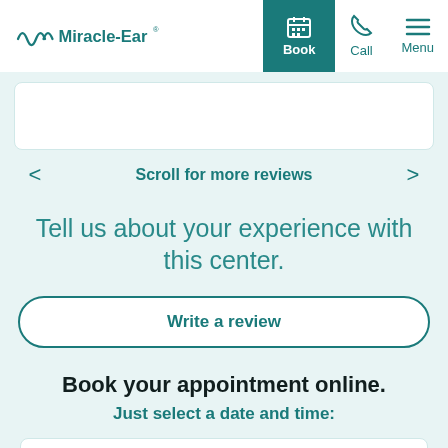Miracle-Ear | Book | Call | Menu
[Figure (other): Partial white review card visible at top]
Scroll for more reviews
Tell us about your experience with this center.
Write a review
Book your appointment online.
Just select a date and time:
[Figure (other): Partial date/time selector input at bottom]